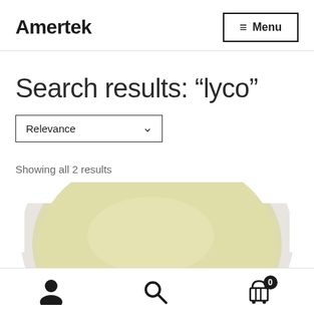Amertek
Search results: “lyco”
Relevance (sort dropdown)
Showing all 2 results
[Figure (photo): Top view of a round container/tub with pale yellow cream or ointment product, partially cropped at bottom]
User icon | Search icon | Cart icon with badge 0